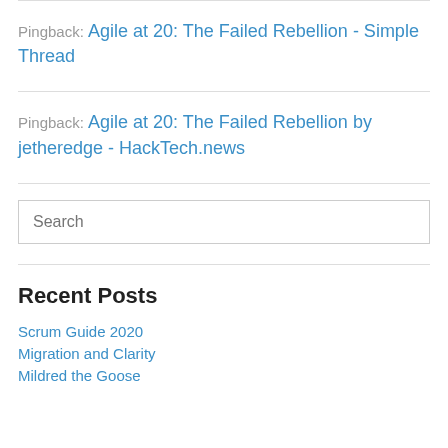Pingback: Agile at 20: The Failed Rebellion - Simple Thread
Pingback: Agile at 20: The Failed Rebellion by jetheredge - HackTech.news
Search
Recent Posts
Scrum Guide 2020
Migration and Clarity
Mildred the Goose